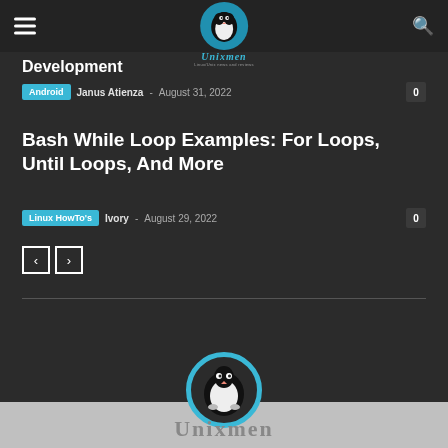Unixmen — Linux/Unix news and reviews
Development
Android  Janus Atienza  -  August 31, 2022  0
Bash While Loop Examples: For Loops, Until Loops, And More
Linux HowTo's  Ivory  -  August 29, 2022  0
[Figure (other): Pagination navigation with previous (<) and next (>) arrow buttons]
[Figure (logo): Unixmen logo — penguin in blue circle with site name below]
Unixmen